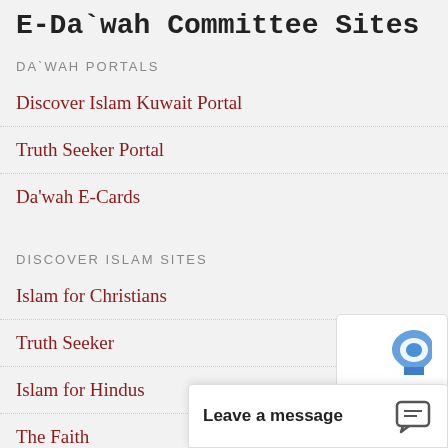E-Da`wah Committee Sites
DA`WAH PORTALS
Discover Islam Kuwait Portal
Truth Seeker Portal
Da'wah E-Cards
DISCOVER ISLAM SITES
Islam for Christians
Truth Seeker
Islam for Hindus
The Faith
Last Miracle
Chat on Faith